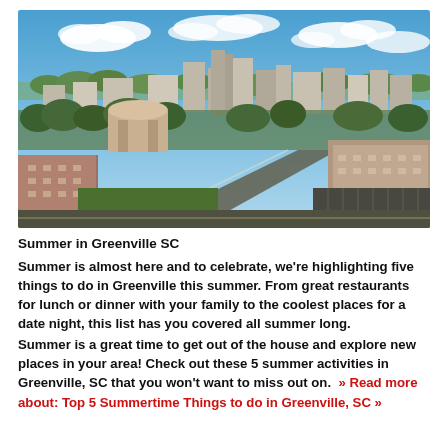[Figure (photo): Aerial view of downtown Greenville, SC showing buildings, roads, trees, and blue sky with clouds]
Summer in Greenville SC
Summer is almost here and to celebrate, we're highlighting five things to do in Greenville this summer. From great restaurants for lunch or dinner with your family to the coolest places for a date night, this list has you covered all summer long.
Summer is a great time to get out of the house and explore new places in your area! Check out these 5 summer activities in Greenville, SC that you won't want to miss out on.  » Read more about: Top 5 Summertime Things to do in Greenville, SC »